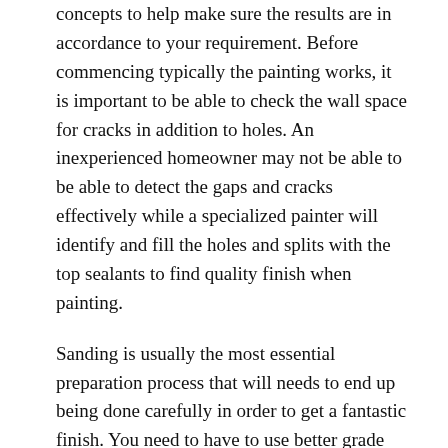concepts to help make sure the results are in accordance to your requirement. Before commencing typically the painting works, it is important to be able to check the wall space for cracks in addition to holes. An inexperienced homeowner may not be able to be able to detect the gaps and cracks effectively while a specialized painter will identify and fill the holes and splits with the top sealants to find quality finish when painting.
Sanding is usually the most essential preparation process that will needs to end up being done carefully in order to get a fantastic finish. You need to have to use better grade sand paperwork to sand straight down each of the walls. Normally, some homeowners neglect sanding process although some others work with only a rough paper for texturing. An experienced painter can start sanding